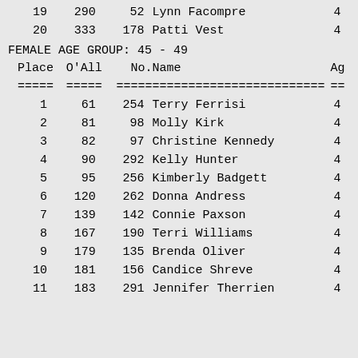| Place | O'All | No. | Name | Ag |
| --- | --- | --- | --- | --- |
| 19 | 290 | 52 | Lynn Facompre | 4 |
| 20 | 333 | 178 | Patti Vest | 4 |
FEMALE AGE GROUP:  45 - 49
| Place | O'All | No. | Name | Ag |
| --- | --- | --- | --- | --- |
| 1 | 61 | 254 | Terry Ferrisi | 4 |
| 2 | 81 | 98 | Molly Kirk | 4 |
| 3 | 82 | 97 | Christine Kennedy | 4 |
| 4 | 90 | 292 | Kelly Hunter | 4 |
| 5 | 95 | 256 | Kimberly Badgett | 4 |
| 6 | 120 | 262 | Donna Andress | 4 |
| 7 | 139 | 142 | Connie Paxson | 4 |
| 8 | 167 | 190 | Terri Williams | 4 |
| 9 | 179 | 135 | Brenda Oliver | 4 |
| 10 | 181 | 156 | Candice Shreve | 4 |
| 11 | 183 | 291 | Jennifer Therrien | 4 |